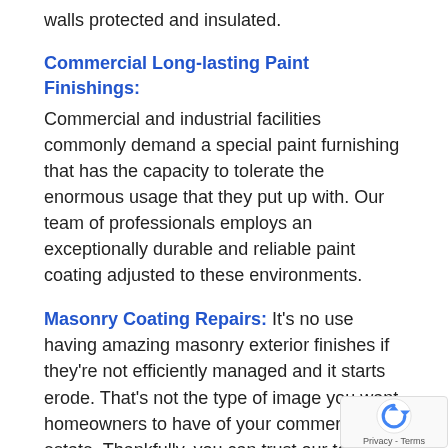walls protected and insulated.
Commercial Long-lasting Paint Finishings:
Commercial and industrial facilities commonly demand a special paint furnishing that has the capacity to tolerate the enormous usage that they put up with. Our team of professionals employs an exceptionally durable and reliable paint coating adjusted to these environments.
Masonry Coating Repairs: It’s no use having amazing masonry exterior finishes if they’re not efficiently managed and it starts erode. That’s not the type of image you want homeowners to have of your commercial real estate. Thankfully, you can trust our team to fix cracked masonry finishes in your home and to maintain these amazing details to ensure that they’re untouched and unaffected by the passage of time.
[Figure (logo): reCAPTCHA badge with circular arrow logo and Privacy - Terms text]